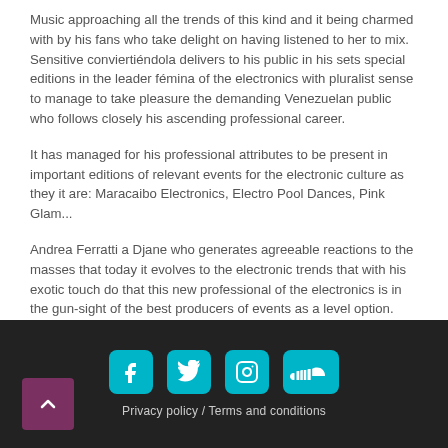Music approaching all the trends of this kind and it being charmed with by his fans who take delight on having listened to her to mix. Sensitive conviertiéndola delivers to his public in his sets special editions in the leader fémina of the electronics with pluralist sense to manage to take pleasure the demanding Venezuelan public who follows closely his ascending professional career.
It has managed for his professional attributes to be present in important editions of relevant events for the electronic culture as they it are: Maracaibo Electronics, Electro Pool Dances, Pink Glam...
Andrea Ferratti a Djane who generates agreeable reactions to the masses that today it evolves to the electronic trends that with his exotic touch do that this new professional of the electronics is in the gun-sight of the best producers of events as a level option.
Privacy policy / Terms and conditions